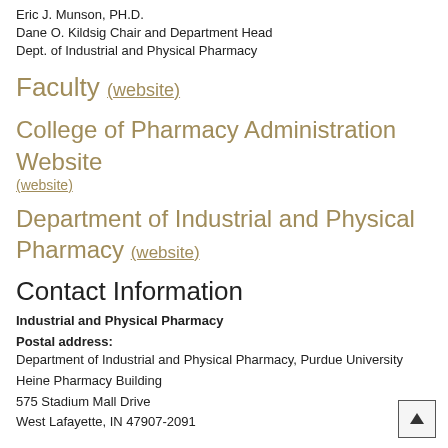Eric J. Munson, PH.D.
Dane O. Kildsig Chair and Department Head
Dept. of Industrial and Physical Pharmacy
Faculty (website)
College of Pharmacy Administration Website (website)
Department of Industrial and Physical Pharmacy (website)
Contact Information
Industrial and Physical Pharmacy
Postal address:
Department of Industrial and Physical Pharmacy, Purdue University
Heine Pharmacy Building
575 Stadium Mall Drive
West Lafayette, IN 47907-2091